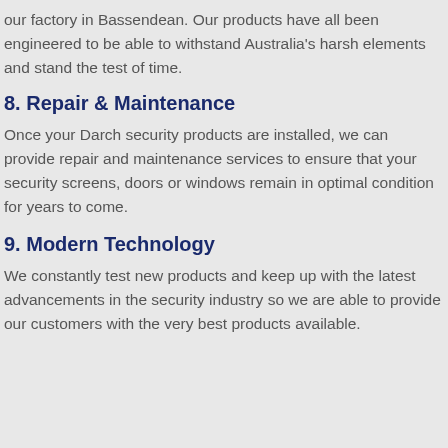our factory in Bassendean. Our products have all been engineered to be able to withstand Australia's harsh elements and stand the test of time.
8. Repair & Maintenance
Once your Darch security products are installed, we can provide repair and maintenance services to ensure that your security screens, doors or windows remain in optimal condition for years to come.
9. Modern Technology
We constantly test new products and keep up with the latest advancements in the security industry so we are able to provide our customers with the very best products available.